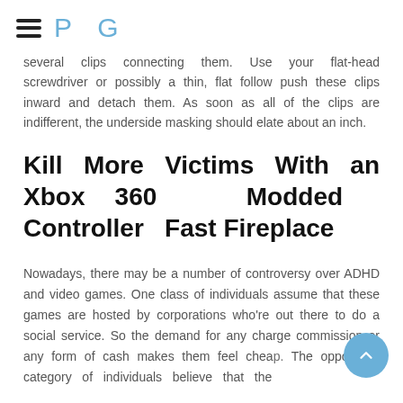P G
several clips connecting them. Use your flat-head screwdriver or possibly a thin, flat follow push these clips inward and detach them. As soon as all of the clips are indifferent, the underside masking should elate about an inch.
Kill More Victims With an Xbox 360 Modded Controller Fast Fireplace
Nowadays, there may be a number of controversy over ADHD and video games. One class of individuals assume that these games are hosted by corporations who're out there to do a social service. So the demand for any charge, commission or any form of cash makes them feel chea... The opposite category of individuals believe that the